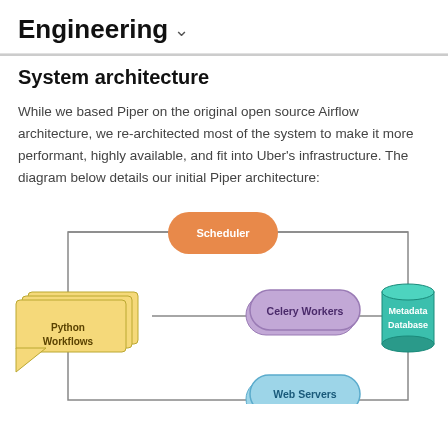Engineering ˅
System architecture
While we based Piper on the original open source Airflow architecture, we re-architected most of the system to make it more performant, highly available, and fit into Uber's infrastructure. The diagram below details our initial Piper architecture:
[Figure (flowchart): System architecture diagram showing Scheduler at top center connected by lines to a rectangle frame. Python Workflows (yellow document shape) on the left connects to Celery Workers (purple pill shape, stacked) in the center, which connects to Metadata Database (teal cylinder) on the right. Web Servers (blue pill shape, stacked) partially visible at bottom center.]